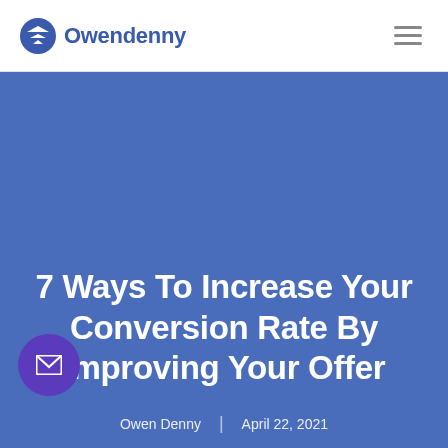Owendenny
7 Ways To Increase Your Conversion Rate By Improving Your Offer
Owen Denny | April 22, 2021